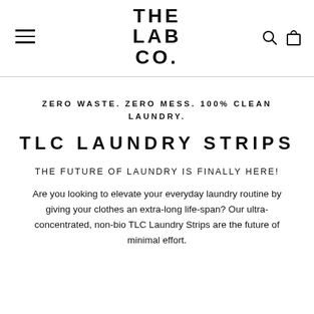THE LAB CO.
ZERO WASTE. ZERO MESS. 100% CLEAN LAUNDRY.
TLC LAUNDRY STRIPS
THE FUTURE OF LAUNDRY IS FINALLY HERE!
Are you looking to elevate your everyday laundry routine by giving your clothes an extra-long life-span? Our ultra-concentrated, non-bio TLC Laundry Strips are the future of minimal effort.